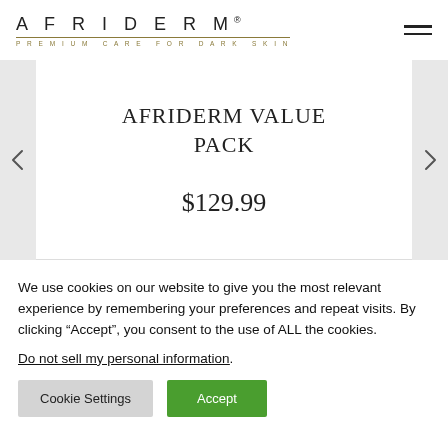AFRIDERM — PREMIUM CARE FOR DARK SKIN
AFRIDERM VALUE PACK
$129.99
We use cookies on our website to give you the most relevant experience by remembering your preferences and repeat visits. By clicking “Accept”, you consent to the use of ALL the cookies.
Do not sell my personal information.
Cookie Settings
Accept